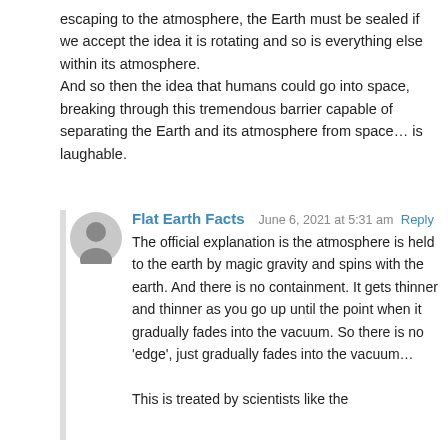escaping to the atmosphere, the Earth must be sealed if we accept the idea it is rotating and so is everything else within its atmosphere.
And so then the idea that humans could go into space, breaking through this tremendous barrier capable of separating the Earth and its atmosphere from space… is laughable.
Flat Earth Facts   June 6, 2021 at 5:31 am   Reply
The official explanation is the atmosphere is held to the earth by magic gravity and spins with the earth. And there is no containment. It gets thinner and thinner as you go up until the point when it gradually fades into the vacuum. So there is no 'edge', just gradually fades into the vacuum…

This is treated by scientists like the